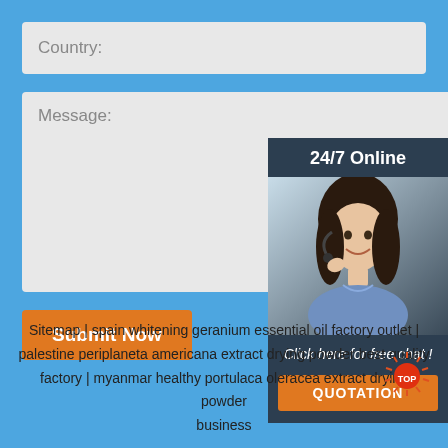Country:
Message:
Submit Now
[Figure (illustration): 24/7 Online customer service chat widget showing a woman with headset, 'Click here for free chat!' text, and a QUOTATION button]
Sitemap | spain whitening geranium essential oil factory outlet | palestine periplaneta americana extract drying powder best quality factory | myanmar healthy portulaca oleracea extract drying powder business